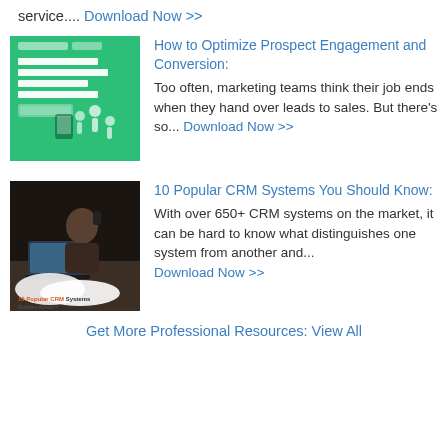service.... Download Now >>
[Figure (illustration): Green book cover: How to Optimize Prospect Engagement and Conversion]
How to Optimize Prospect Engagement and Conversion: Too often, marketing teams think their job ends when they hand over leads to sales. But there's so... Download Now >>
[Figure (photo): Photo of person on phone at desk with laptop, with CRM Systems book cover overlay]
10 Popular CRM Systems You Should Know: With over 650+ CRM systems on the market, it can be hard to know what distinguishes one system from another and... Download Now >>
Get More Professional Resources: View All